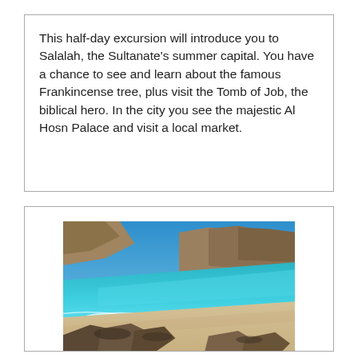This half-day excursion will introduce you to Salalah, the Sultanate's summer capital. You have a chance to see and learn about the famous Frankincense tree, plus visit the Tomb of Job, the biblical hero. In the city you see the majestic Al Hosn Palace and visit a local market.
[Figure (photo): Coastal landscape photograph showing a sweeping beach with white sandy shore, turquoise and blue ocean waves, rocky outcroppings in the foreground, and rugged brown mountains/cliffs in the background under a clear blue sky. Likely the coastline near Salalah, Oman.]